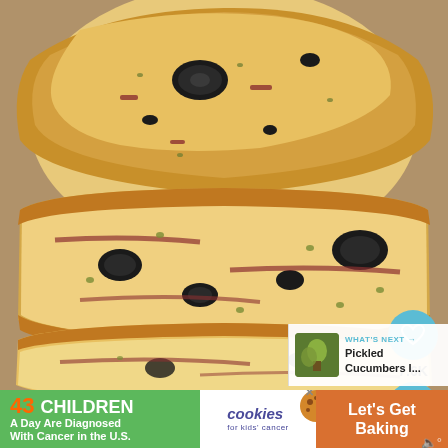[Figure (photo): Close-up photo of sliced olive and bacon bread loaf, showing golden-brown crust and soft interior with black olives and meat pieces scattered throughout. Multiple slices are visible, stacked and fanned out.]
[Figure (screenshot): UI overlay showing a teal heart icon button and a teal share icon button on the right side of the photo, with '7.6K' count between them.]
[Figure (screenshot): WHAT'S NEXT panel in bottom-right corner showing a thumbnail image and text 'Pickled Cucumbers I...']
[Figure (infographic): Green/orange advertisement banner at the bottom reading '43 CHILDREN A Day Are Diagnosed With Cancer in the U.S.' with cookies for kids' cancer logo and 'Let's Get Baking' call to action.]